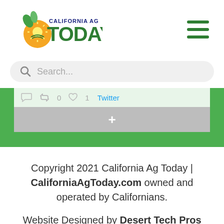[Figure (logo): California Ag Today logo with orange location pin, sun/wheat graphic, and green bold 'TODAY' text with 'CALIFORNIA AG' above]
[Figure (other): Hamburger menu icon with three green horizontal lines]
Search...
[Figure (screenshot): Partial social sharing bar showing comment, retweet (0), heart (1), Twitter text, and a gray '+' button below]
Copyright 2021 California Ag Today | CaliforniaAgToday.com owned and operated by Californians.
Website Designed by Desert Tech Pros